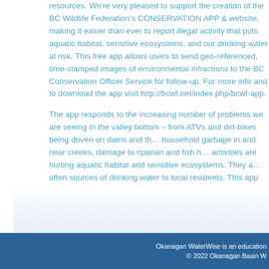resources. We're very pleased to support the creation of the BC Wildlife Federation's CONSERVATION APP & website, making it easier than ever to report illegal activity that puts aquatic habitat, sensitive ecosystems, and our drinking water at risk. This free app allows users to send geo-referenced, time-stamped images of environmental infractions to the BC Conservation Officer Service for follow-up. For more info and to download the app visit http://bcwf.net/index.php/bcwf-app.
The app responds to the increasing number of problems we are seeing in the valley bottom – from ATVs and dirt-bikes being driven on dams and the dumping of household garbage in and near creeks, damage to riparian and fish habitat. These activities are hurting aquatic habitat and sensitive ecosystems. They are also often sources of drinking water to local residents. This app and website are key to awareness and helping protect these areas.
[Figure (other): Light blue gradient background image area, partially visible at bottom of page]
Okanagan WaterWise is an education program. © 2022 Okanagan Basin W...